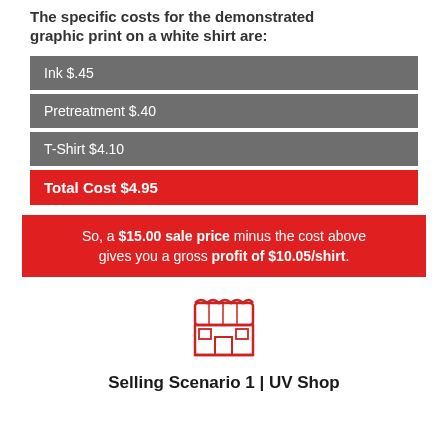The specific costs for the demonstrated graphic print on a white shirt are:
Ink $.45
Pretreatment $.40
T-Shirt $4.10
Total Cost $4.95
So, a $15.00 sale price minus the cost above gives you a gross profit of $10.05/shirt.
[Figure (illustration): Store/shop front icon outline in red]
Selling Scenario 1 | UV Shop